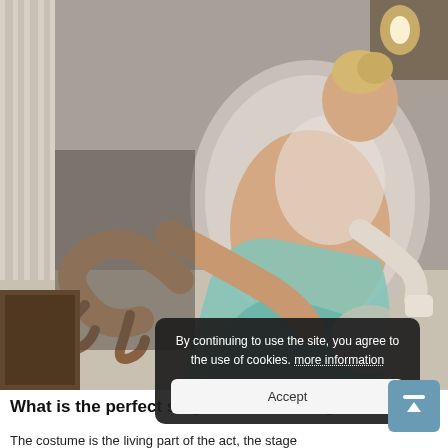[Figure (photo): A blonde woman in a teal/mint flowing gown with lace details, sitting reclined on a vintage upholstered armchair with legs crossed, wearing high heel shoes. Indoor setting with soft lighting and candles.]
By continuing to use the site, you agree to the use of cookies. more information
Accept
What is the perfect stage costume design?
The costume is the living part of the act, the stage